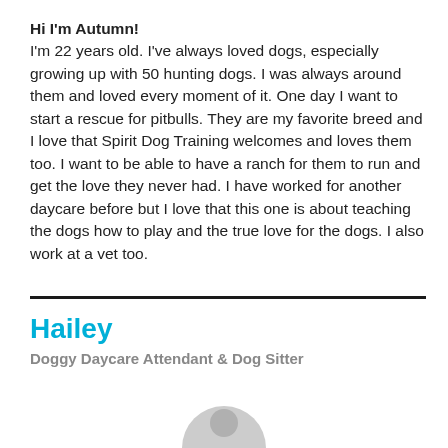Hi I'm Autumn!
I'm 22 years old. I've always loved dogs, especially growing up with 50 hunting dogs. I was always around them and loved every moment of it. One day I want to start a rescue for pitbulls. They are my favorite breed and I love that Spirit Dog Training welcomes and loves them too. I want to be able to have a ranch for them to run and get the love they never had. I have worked for another daycare before but I love that this one is about teaching the dogs how to play and the true love for the dogs. I also work at a vet too.
Hailey
Doggy Daycare Attendant & Dog Sitter
[Figure (illustration): Partial gray circle avatar placeholder at the bottom center of the page]